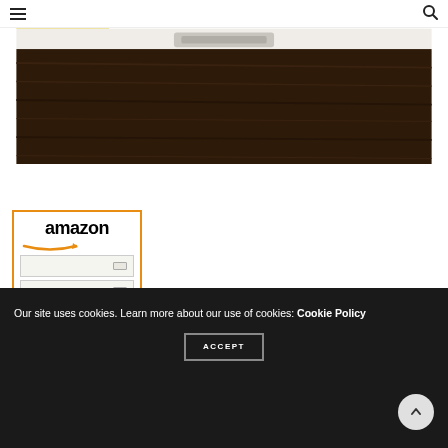Navigation bar with hamburger menu and search icon
[Figure (photo): Close-up photo of a wooden dresser or table surface with a metallic drawer handle, showing dark wood grain and white/cream colored edge at the top]
[Figure (other): Amazon advertisement widget showing the Amazon logo with orange arrow, and four white pull-out drawer organizers stacked vertically, with a link reading '4 Drawer']
Our site uses cookies. Learn more about our use of cookies: Cookie Policy
ACCEPT